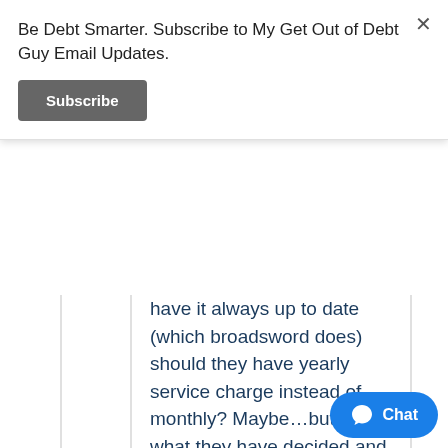Be Debt Smarter. Subscribe to My Get Out of Debt Guy Email Updates.
Subscribe
have it always up to date (which broadsword does) should they have yearly service charge instead of monthly? Maybe…but it's what they have decided and it works for them. Especially since they offer more than just student debt relief.